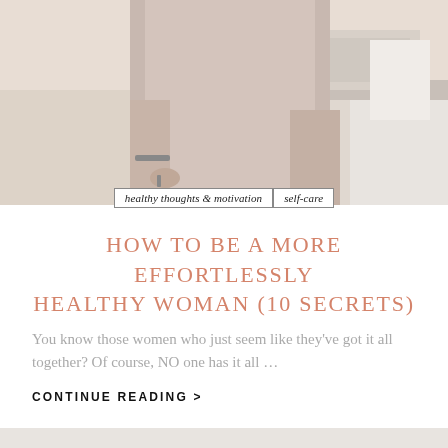[Figure (photo): Woman in kitchen, partial body shot from waist down, light pink/beige top]
healthy thoughts & motivation | self-care
HOW TO BE A MORE EFFORTLESSLY HEALTHY WOMAN (10 SECRETS)
You know those women who just seem like they've got it all together? Of course, NO one has it all …
CONTINUE READING >
[Figure (photo): Woman with brown hair in a bright white kitchen with shelves and plants in background]